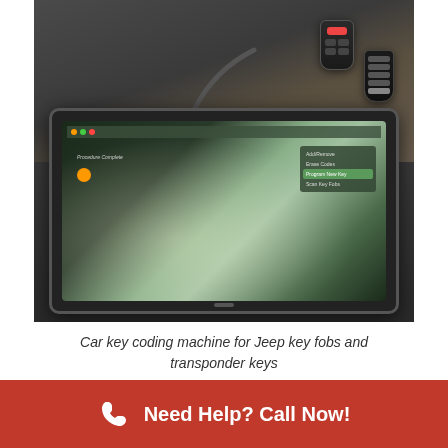[Figure (photo): A car key coding machine (tablet-style diagnostic tool) sitting on a dark car seat, connected via cable to two Jeep key fobs/transponder keys. The tablet screen shows a programming interface with menu options.]
Car key coding machine for Jeep key fobs and transponder keys
Need Help? Call Now!